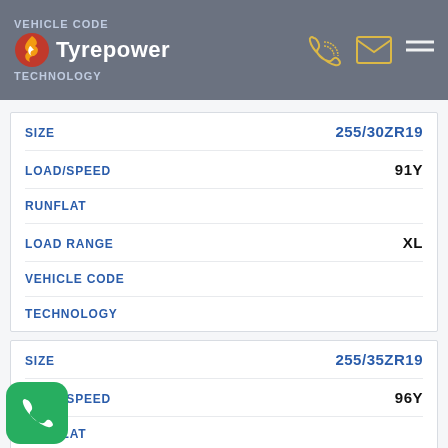VEHICLE CODE
Tyrepower
TECHNOLOGY
| Field | Value |
| --- | --- |
| SIZE | 255/30ZR19 |
| LOAD/SPEED | 91Y |
| RUNFLAT |  |
| LOAD RANGE | XL |
| VEHICLE CODE |  |
| TECHNOLOGY |  |
| Field | Value |
| --- | --- |
| SIZE | 255/35ZR19 |
| LOAD/SPEED | 96Y |
| RUNFLAT |  |
| LOAD RANGE | XL |